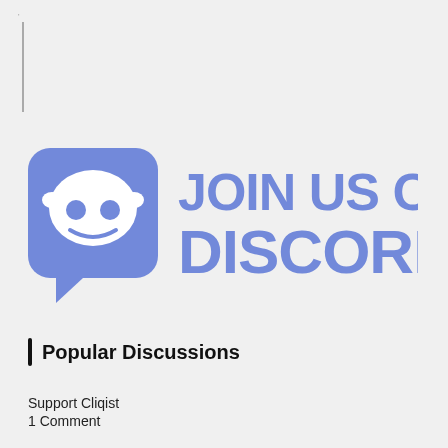[Figure (logo): Join us on Discord promotional banner with Discord logo (purple speech bubble with robot face icon) and text 'JOIN US ON DISCORD' in purple bold letters]
Popular Discussions
Support Cliqist
1 Comment